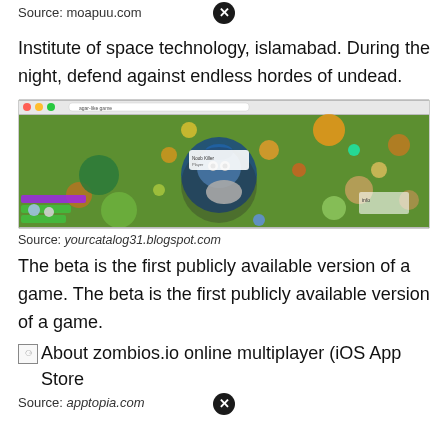Source: moapuu.com
Institute of space technology, islamabad. During the night, defend against endless hordes of undead.
[Figure (screenshot): Screenshot of a multiplayer .io game showing a top-down view of a green field with various colored blob/creature characters on it.]
Source: yourcatalog31.blogspot.com
The beta is the first publicly available version of a game. The beta is the first publicly available version of a game.
[Figure (other): Broken image icon followed by text: About zombios.io online multiplayer (iOS App Store]
Source: apptopia.com